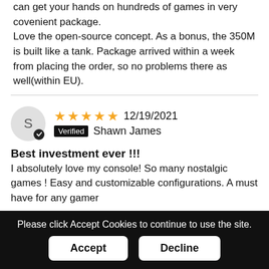can get your hands on hundreds of games in very covenient package.
Love the open-source concept. As a bonus, the 350M is built like a tank. Package arrived within a week from placing the order, so no problems there as well(within EU).
S  ★★★★★  12/19/2021  Verified  Shawn James
Best investment ever !!!
I absolutely love my console! So many nostalgic games ! Easy and customizable configurations. A must have for any gamer
Please click Accept Cookies to continue to use the site.